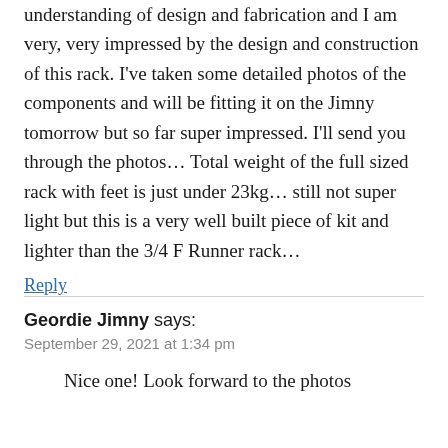understanding of design and fabrication and I am very, very impressed by the design and construction of this rack. I've taken some detailed photos of the components and will be fitting it on the Jimny tomorrow but so far super impressed. I'll send you through the photos… Total weight of the full sized rack with feet is just under 23kg… still not super light but this is a very well built piece of kit and lighter than the 3/4 F Runner rack…
Reply
Geordie Jimny says:
September 29, 2021 at 1:34 pm
Nice one! Look forward to the photos